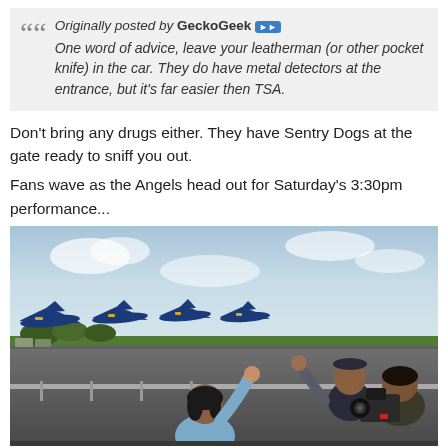Originally posted by GeckoGeek [>>] One word of advice, leave your leatherman (or other pocket knife) in the car. They do have metal detectors at the entrance, but it's far easier then TSA.
Don't bring any drugs either. They have Sentry Dogs at the gate ready to sniff you out.
Fans wave as the Angels head out for Saturday's 3:30pm performance...
[Figure (photo): Outdoor air show photo showing fans waving at Blue Angels jets lined up on the tarmac. A woman in a blue jacket is waving with her right arm raised, and people on the right are filming with cameras. Blue and yellow Navy jets are visible on the runway in the background.]